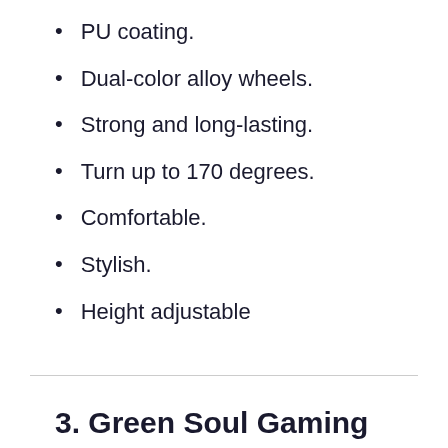PU coating.
Dual-color alloy wheels.
Strong and long-lasting.
Turn up to 170 degrees.
Comfortable.
Stylish.
Height adjustable
3. Green Soul Gaming